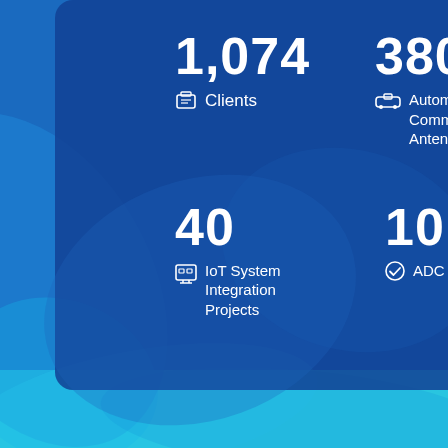[Figure (infographic): Blue infographic card on a blue background showing four statistics: 1,074 Clients; 380,000 (Automotive Communications Antenna); 40 IoT System Integration Projects; 10+ Million ADC IP Licenses]